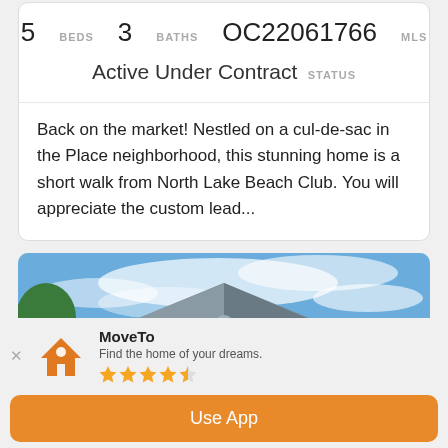5 BEDS  3 BATHS  OC22061766 MLS
Active Under Contract STATUS
Back on the market! Nestled on a cul-de-sac in the Place neighborhood, this stunning home is a short walk from North Lake Beach Club. You will appreciate the custom lead...
[Figure (photo): Exterior photo of a house with blue sky and clouds in background, roof and upper portion of house visible]
MoveTo
Find the home of your dreams.
★★★★☆
Use App